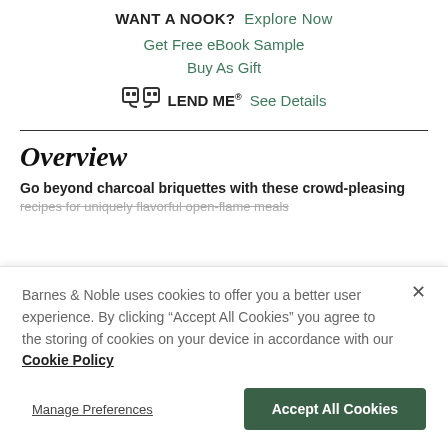WANT A NOOK? Explore Now
Get Free eBook Sample
Buy As Gift
LEND ME® See Details
Overview
Go beyond charcoal briquettes with these crowd-pleasing
recipes for uniquely flavorful open-flame meals
Barnes & Noble uses cookies to offer you a better user experience. By clicking "Accept All Cookies" you agree to the storing of cookies on your device in accordance with our Cookie Policy
Manage Preferences
Accept All Cookies